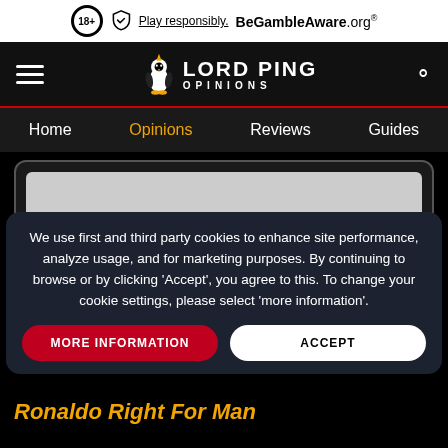18+ Play responsibly. BeGambleAware.org®
[Figure (logo): Lord Ping Opinions logo with penguin mascot, hamburger menu icon and search icon]
Home | Opinions | Reviews | Guides
[Figure (screenshot): Grey placeholder screen/image area inside a dark rounded card]
We use first and third party cookies to enhance site performance, analyze usage, and for marketing purposes. By continuing to browse or by clicking 'Accept', you agree to this. To change your cookie settings, please select 'more information'.
MORE INFORMATION   ACCEPT
Ronaldo Right For Man